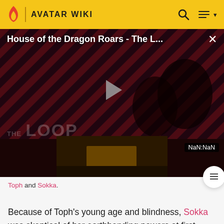AVATAR WIKI
[Figure (screenshot): Video player thumbnail for 'House of the Dragon Roars - The L...' with a play button, dark cinematic still, THE LOOP branding, and NaN:NaN timestamp]
Toph and Sokka.
Because of Toph's young age and blindness, Sokka was skeptical of her earthbending powers at first. Upon witnessing her fight Xin Fu's entire group of